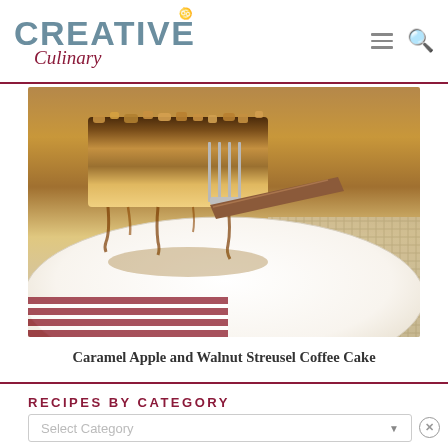Creative Culinary
[Figure (photo): Close-up photo of a slice of Caramel Apple and Walnut Streusel Coffee Cake on a white plate, being lifted by a fork with a wooden handle. Caramel sauce drips over the streusel topping. A burlap fabric and red/white striped cloth are visible in the background.]
Caramel Apple and Walnut Streusel Coffee Cake
RECIPES BY CATEGORY
Select Category